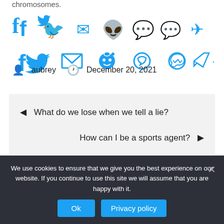chromosomes.
[Figure (infographic): Social share bar with icons for Facebook, Twitter, Email, Reddit, WhatsApp, Messenger, Telegram, and a plus/more button, all in blue]
aubrey  December 20, 2021
◄  What do we lose when we tell a lie?
How can I be a sports agent?  ►
We use cookies to ensure that we give you the best experience on our website. If you continue to use this site we will assume that you are happy with it.